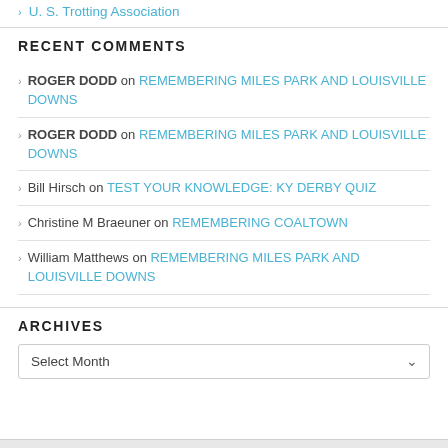U. S. Trotting Association
RECENT COMMENTS
ROGER DODD on REMEMBERING MILES PARK AND LOUISVILLE DOWNS
ROGER DODD on REMEMBERING MILES PARK AND LOUISVILLE DOWNS
Bill Hirsch on TEST YOUR KNOWLEDGE: KY DERBY QUIZ
Christine M Braeuner on REMEMBERING COALTOWN
William Matthews on REMEMBERING MILES PARK AND LOUISVILLE DOWNS
ARCHIVES